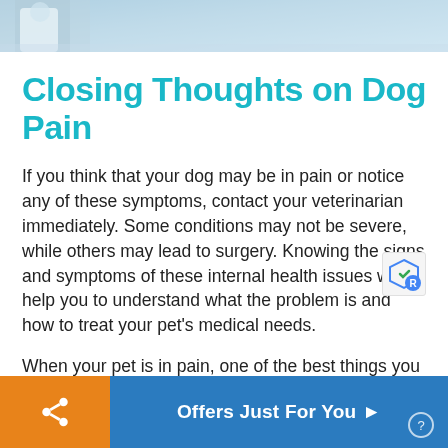[Figure (photo): Partial view of a photo strip showing what appears to be a person in a medical or clinical setting, light blue tones]
Closing Thoughts on Dog Pain
If you think that your dog may be in pain or notice any of these symptoms, contact your veterinarian immediately. Some conditions may not be severe, while others may lead to surgery. Knowing the signs and symptoms of these internal health issues will help you to understand what the problem is and how to treat your pet’s medical needs.
When your pet is in pain, one of the best things you can do is to keep him or her as comfortable as possible. Many pet parents are choosing hemp o
Offers Just For You